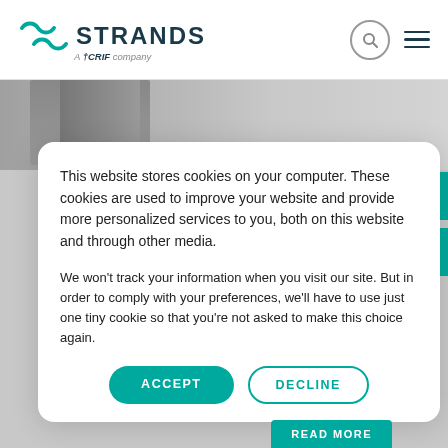[Figure (logo): Strands logo — teal double-loop icon, STRANDS in dark navy bold text, 'A CRIF company' tagline below]
This website stores cookies on your computer. These cookies are used to improve your website and provide more personalized services to you, both on this website and through other media.
We won't track your information when you visit our site. But in order to comply with your preferences, we'll have to use just one tiny cookie so that you're not asked to make this choice again.
ACCEPT
DECLINE
READ MORE